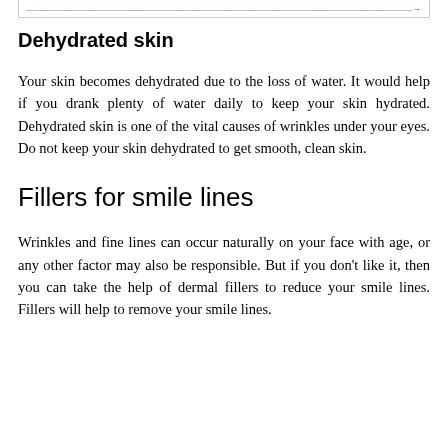[green link/navigation bar at top]
Dehydrated skin
Your skin becomes dehydrated due to the loss of water. It would help if you drank plenty of water daily to keep your skin hydrated. Dehydrated skin is one of the vital causes of wrinkles under your eyes. Do not keep your skin dehydrated to get smooth, clean skin.
Fillers for smile lines
Wrinkles and fine lines can occur naturally on your face with age, or any other factor may also be responsible. But if you don't like it, then you can take the help of dermal fillers to reduce your smile lines. Fillers will help to remove your smile lines.